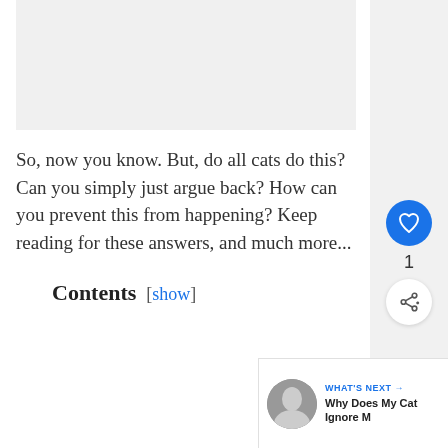[Figure (photo): Partially visible image placeholder at top of content area]
So, now you know. But, do all cats do this? Can you simply just argue back? How can you prevent this from happening? Keep reading for these answers, and much more...
Contents [ show ]